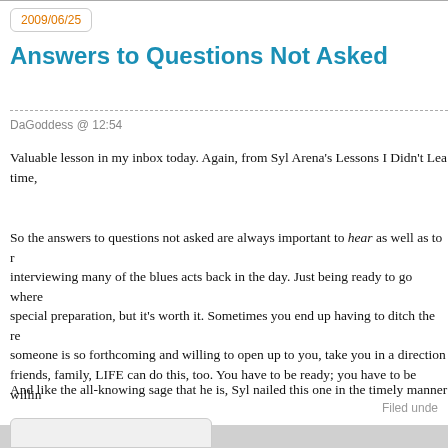2009/06/25
Answers to Questions Not Asked
DaGoddess @ 12:54
Valuable lesson in my inbox today. Again, from Syl Arena’s Lessons I Didn’t Lea time,
So the answers to questions not asked are always important to hear as well as to r interviewing many of the blues acts back in the day. Just being ready to go where special preparation, but it’s worth it. Sometimes you end up having to ditch the re someone is so forthcoming and willing to open up to you, take you in a direction friends, family, LIFE can do this, too. You have to be ready; you have to be willin
And like the all-knowing sage that he is, Syl nailed this one in the timely manner
I’ll let you go read the rest of his lessons and guess which others were nail-on-hea before, these aren’t just photography-related tips and observations — they’re life
Syl is my top feed subscription. I know when I see PixSylated, I’m in for somethi
Filed unde